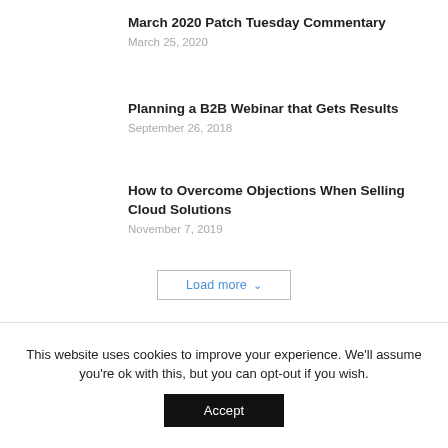March 2020 Patch Tuesday Commentary
March 25, 2020
Planning a B2B Webinar that Gets Results
September 26, 2018
How to Overcome Objections When Selling Cloud Solutions
November 7, 2019
Load more
This website uses cookies to improve your experience. We'll assume you're ok with this, but you can opt-out if you wish.
Accept